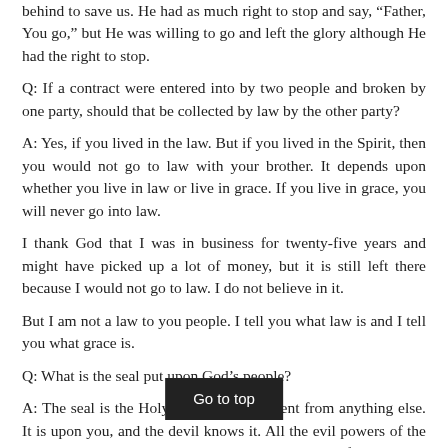behind to save us. He had as much right to stop and say, “Father, You go,” but He was willing to go and left the glory although He had the right to stop.
Q: If a contract were entered into by two people and broken by one party, should that be collected by law by the other party?
A: Yes, if you lived in the law. But if you lived in the Spirit, then you would not go to law with your brother. It depends upon whether you live in law or live in grace. If you live in grace, you will never go into law.
I thank God that I was in business for twenty-five years and might have picked up a lot of money, but it is still left there because I would not go to law. I do not believe in it.
But I am not a law to you people. I tell you what law is and I tell you what grace is.
Q: What is the seal put upon God’s people?
A: The seal is the Holy Spirit. It is different from anything else. It is upon you, and the devil knows it. All the evil powers of the earth know it. You are sealed with that Holy Spirit of promise till the day of redemption. You are also [given] the same Spirit, and that is in the epistles. But don’t fo[rget to] get a great deal in your